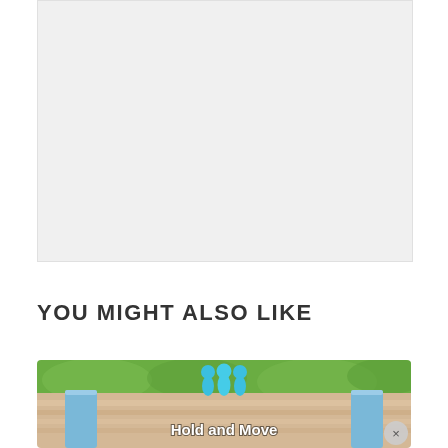[Figure (other): Large grey placeholder advertisement block at top of page]
YOU MIGHT ALSO LIKE
[Figure (screenshot): Thumbnail image showing a mobile game called 'Hold and Move' with blue 3D figures on a sandy lane with blue rails and green background foliage]